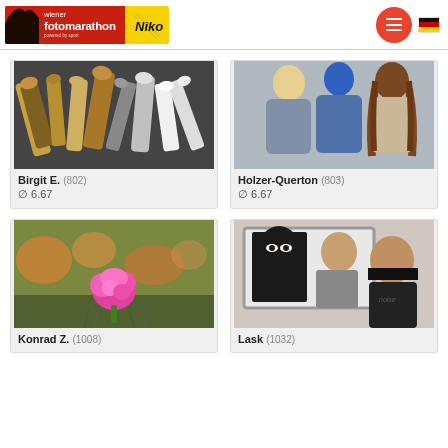[Figure (screenshot): Wiener Fotomarathon website header with logo, hamburger menu button, and German flag]
[Figure (photo): Close-up of makeup brushes]
Birgit E. (802)
∅ 6.67
[Figure (photo): Three people seen from behind, one with blue hair]
Holzer-Querton (803)
∅ 6.67
[Figure (photo): Pink fluffy plant or decoration in grass]
Konrad Z. (1008)
[Figure (photo): Two women: one in niqab, one with eyes censored by black bar]
Lask (1032)